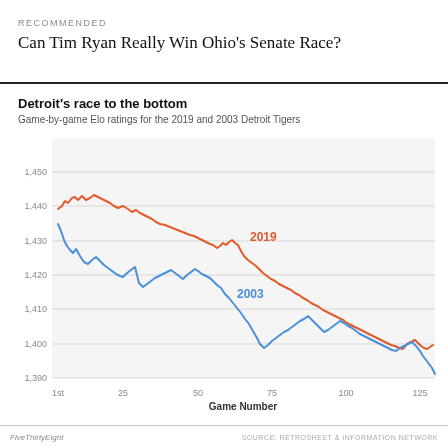RECOMMENDED
Can Tim Ryan Really Win Ohio's Senate Race?
Detroit's race to the bottom
Game-by-game Elo ratings for the 2019 and 2003 Detroit Tigers
[Figure (line-chart): Detroit's race to the bottom]
FiveThirtyEight    SOURCE: RETROSHEET & INFORMATION NETWORK